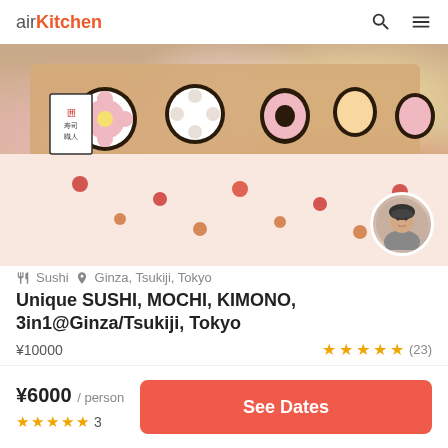airKitchen
[Figure (photo): Decorative sushi rolls arranged on a wooden board with a floral patterned cloth, and a circular avatar of a woman in kimono in the bottom right corner.]
🍴 Sushi  📍 Ginza, Tsukiji, Tokyo
Unique SUSHI, MOCHI, KIMONO, 3in1@Ginza/Tsukiji, Tokyo
¥10000  ★★★★★ (23)
¥6000 / person
★★★★★ 3
See Dates